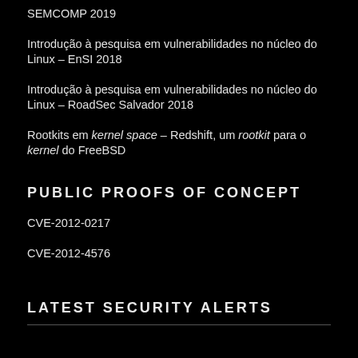SEMCOMP 2019
Introdução à pesquisa em vulnerabilidades no núcleo do Linux – EnSI 2018
Introdução à pesquisa em vulnerabilidades no núcleo do Linux – RoadSec Salvador 2018
Rootkits em kernel space – Redshift, um rootkit para o kernel do FreeBSD
PUBLIC PROOFS OF CONCEPT
CVE-2012-0217
CVE-2012-4576
LATEST SECURITY ALERTS